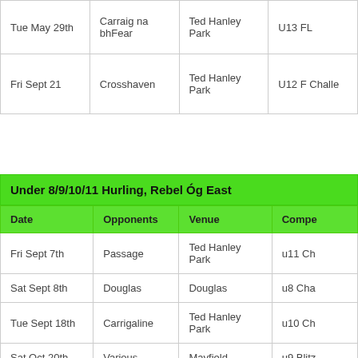| Date | Opponents | Venue | Compe... |
| --- | --- | --- | --- |
| Tue May 29th | Carraig na bhFear | Ted Hanley Park | U13 FL |
| Fri Sept 21 | Crosshaven | Ted Hanley Park | U12 F Challe... |
Under 8/9/10/11 Hurling, Rebel Óg East
| Date | Opponents | Venue | Compe... |
| --- | --- | --- | --- |
| Fri Sept 7th | Passage | Ted Hanley Park | u11 Ch... |
| Sat Sept 8th | Douglas | Douglas | u8 Cha... |
| Tue Sept 18th | Carrigaline | Ted Hanley Park | u10 Ch... |
| Sat Oct 20th | Various | Mayfield | u9 Blitz |
| Sun Nov 4th | Various | St Vincents | u9 Blitz |